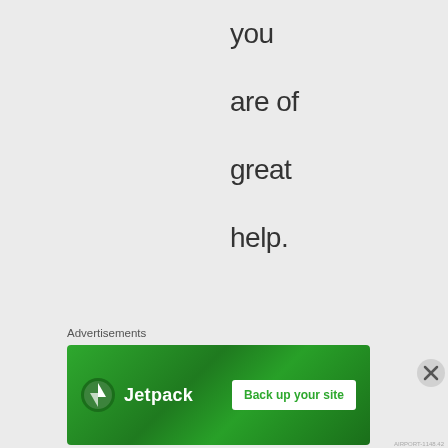you are of great help.

do you collect many watches too like anybody else?
Advertisements
[Figure (other): Jetpack advertisement banner with green background showing Jetpack logo and 'Back up your site' button]